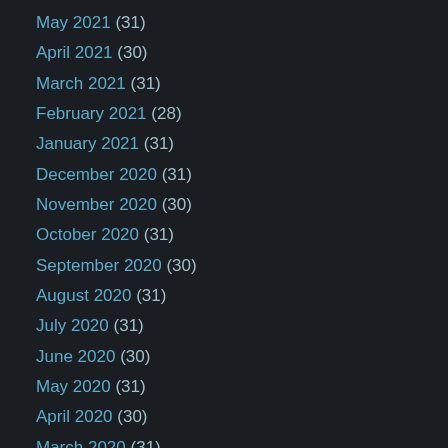May 2021 (31)
April 2021 (30)
March 2021 (31)
February 2021 (28)
January 2021 (31)
December 2020 (31)
November 2020 (30)
October 2020 (31)
September 2020 (30)
August 2020 (31)
July 2020 (31)
June 2020 (30)
May 2020 (31)
April 2020 (30)
March 2020 (31)
February 2020 (29)
January 2020 (31)
December 2019 (31)